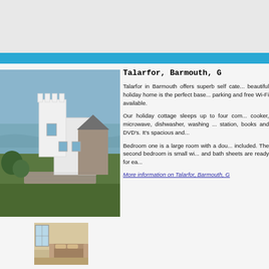[Figure (photo): Blue decorative header bar]
Talarfor, Barmouth, G
[Figure (photo): Main exterior photo of Talarfor, a white castle-like holiday home in Barmouth near the sea]
[Figure (photo): Thumbnail interior photo of bedroom at Talarfor]
Talarfor in Barmouth offers superb self cate... beautiful holiday home is the perfect base... parking and free Wi-Fi available.
Our holiday cottage sleeps up to four com... cooker, microwave, dishwasher, washing ... station, books and DVD's. It's spacious and...
Bedroom one is a large room with a dou... included. The second bedroom is small wi... and bath sheets are ready for ea...
More information on Talarfor, Barmouth, G